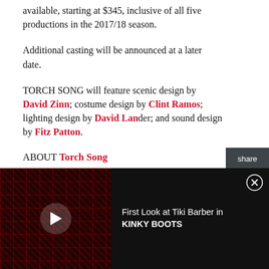available, starting at $345, inclusive of all five productions in the 2017/18 season.
Additional casting will be announced at a later date.
TORCH SONG will feature scenic design by David Zinn; costume design by Clint Ramos; lighting design by David Lander; and sound design by Fitz Patton.
ABOUT Torch Song
It's 1979 in New York City and Arnold Beckoff is on a quest for love, purpose and family. He's fierce in drag
[Figure (screenshot): Video advertisement thumbnail showing a stage production with red lighting grid backdrop, with a play button overlay. Title reads 'First Look at Tiki Barber in KINKY BOOTS']